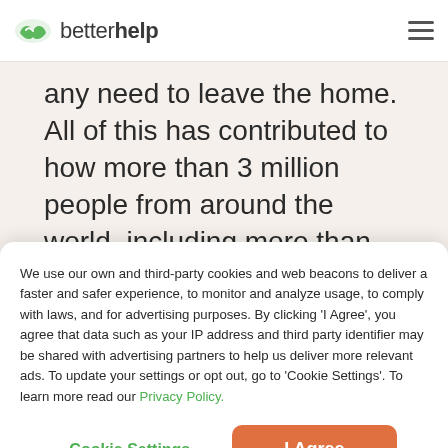betterhelp
any need to leave the home. All of this has contributed to how more than 3 million people from around the world, including more than just
We use our own and third-party cookies and web beacons to deliver a faster and safer experience, to monitor and analyze usage, to comply with laws, and for advertising purposes. By clicking 'I Agree', you agree that data such as your IP address and third party identifier may be shared with advertising partners to help us deliver more relevant ads. To update your settings or opt out, go to 'Cookie Settings'. To learn more read our Privacy Policy.
Cookie Settings | I Agree